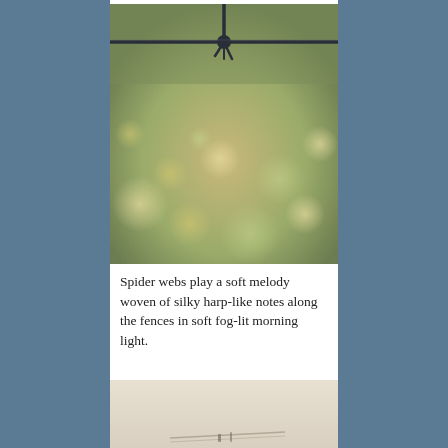[Figure (photo): Close-up photograph of barbed wire with a twisted barb knot in the center, against a blurred golden-green bokeh background of foliage in soft light.]
Spider webs play a soft melody woven of silky harp-like notes along the fences in soft fog-lit morning light.
[Figure (photo): Partial view of a second photograph showing a misty or foggy outdoor scene with a light beige/cream background and faint dark shapes at the bottom.]